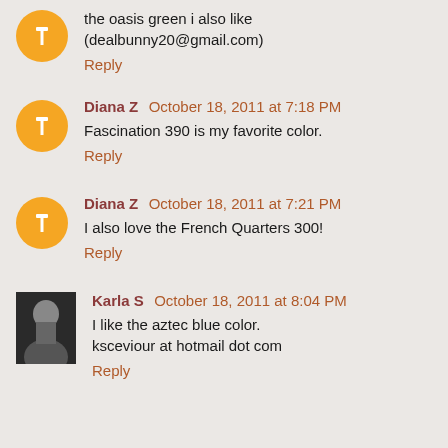the oasis green i also like (dealbunny20@gmail.com)
Reply
Diana Z  October 18, 2011 at 7:18 PM
Fascination 390 is my favorite color.
Reply
Diana Z  October 18, 2011 at 7:21 PM
I also love the French Quarters 300!
Reply
Karla S  October 18, 2011 at 8:04 PM
I like the aztec blue color.
ksceviour at hotmail dot com
Reply